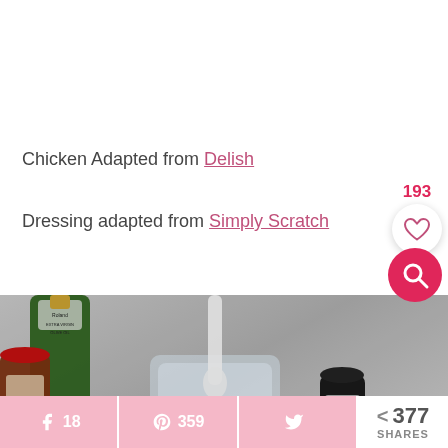Chicken Adapted from Delish
Dressing adapted from Simply Scratch
[Figure (photo): Cooking ingredients including olive oil bottle, a glass measuring cup with white liquid being poured in, and various spice containers on a marble surface]
193 (heart/likes count)
18 (Facebook shares), 359 (Pinterest saves), Twitter share, 377 SHARES total